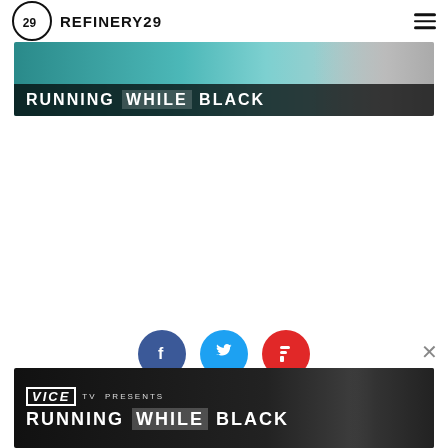REFINERY29
[Figure (screenshot): Banner advertisement showing 'RUNNING WHILE BLACK' text on teal/grey background with partial face visible]
[Figure (infographic): Three social sharing buttons: Facebook (blue circle with F), Twitter (cyan circle with bird), Flipboard (red circle with F)]
[Figure (screenshot): VICE TV PRESENTS banner advertisement showing 'RUNNING WHILE BLACK' text on dark background with person wearing orange clothing]